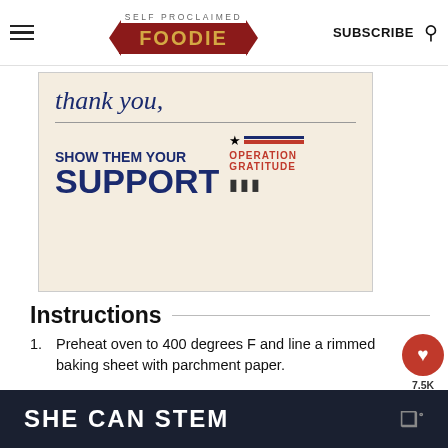SELF PROCLAIMED FOODIE | SUBSCRIBE
[Figure (illustration): Advertisement for Operation Gratitude showing handwritten 'Thank You' text with 'SHOW THEM YOUR SUPPORT' and Operation Gratitude logo]
Instructions
Preheat oven to 400 degrees F and line a rimmed baking sheet with parchment paper.
In a large bowl, whisk together olive oil, soy sauce, rice vinegar, chili paste, and ginger. Add broccoli and toss to coat. Spread onto single layer on baking sheet.
[Figure (photo): Broccoli florets spread on a parchment-lined baking sheet]
SHE CAN STEM